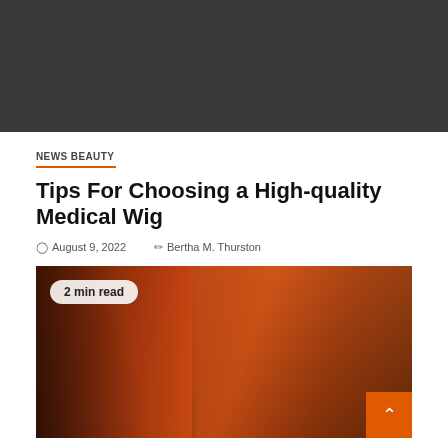[Figure (photo): Dark grey/black header image area, top of article page]
NEWS BEAUTY
Tips For Choosing a High-quality Medical Wig
August 9, 2022   Bertha M. Thurston
[Figure (photo): Photo of people sitting on a red couch, warm orange-red tones, with a '2 min read' badge overlay in top-left corner]